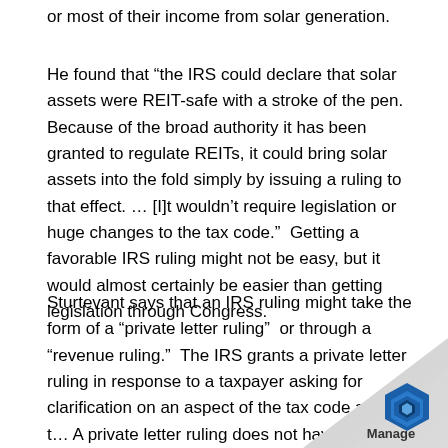or most of their income from solar generation.
He found that “the IRS could declare that solar assets were REIT-safe with a stroke of the pen.  Because of the broad authority it has been granted to regulate REITs, it could bring solar assets into the fold simply by issuing a ruling to that effect. … [I]t wouldn’t require legislation or huge changes to the tax code.”  Getting a favorable IRS ruling might not be easy, but it would almost certainly be easier than getting legislation through Congress.
Sturtevant says that an IRS ruling might take the form of a “private letter ruling”  or through a “revenue ruling.”  The IRS grants a private letter ruling in response to a taxpayer asking for clarification on an aspect of the tax code applies t… A private letter ruling does not have broad applicabi… it is only binding on the requesting taxpayer and th…
[Figure (logo): Manage logo with blue hexagon icon in bottom right corner, page curl effect]